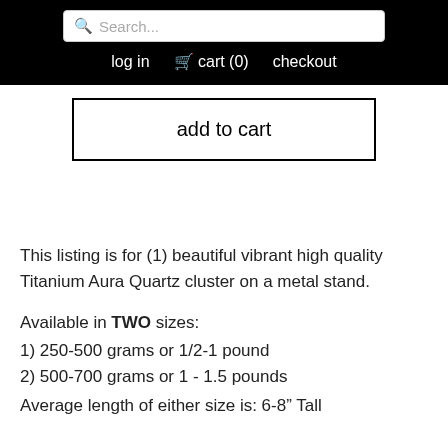Search... | log in | cart (0) | checkout
add to cart
This listing is for (1) beautiful vibrant high quality Titanium Aura Quartz cluster on a metal stand.
Available in TWO sizes:
1) 250-500 grams or 1/2-1 pound
2) 500-700 grams or 1 - 1.5 pounds
Average length of either size is: 6-8" Tall